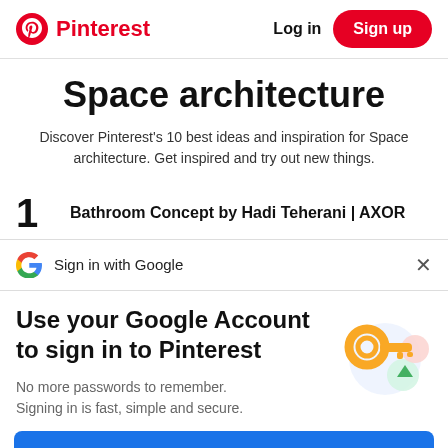Pinterest — Log in — Sign up
Space architecture
Discover Pinterest's 10 best ideas and inspiration for Space architecture. Get inspired and try out new things.
1 Bathroom Concept by Hadi Teherani | AXOR
Sign in with Google
Use your Google Account to sign in to Pinterest
No more passwords to remember. Signing in is fast, simple and secure.
Continue